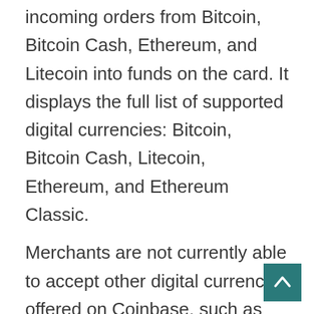incoming orders from Bitcoin, Bitcoin Cash, Ethereum, and Litecoin into funds on the card. It displays the full list of supported digital currencies: Bitcoin, Bitcoin Cash, Litecoin, Ethereum, and Ethereum Classic.
Merchants are not currently able to accept other digital currencies offered on Coinbase, such as Dash, EOS, or NEO. It allows anyone to accept payments from anyone, anywhere, in any token. It is built on top of decentralized finance (DeFi), using state-of-the-art Web3 technologies, such as Open Source Web3